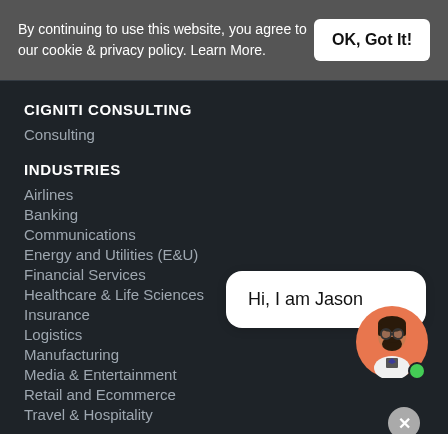By continuing to use this website, you agree to our cookie & privacy policy. Learn More.
OK, Got It!
CIGNITI CONSULTING
Consulting
INDUSTRIES
Airlines
Banking
Communications
Energy and Utilities (E&U)
Financial Services
Healthcare & Life Sciences
Insurance
Logistics
Manufacturing
Media & Entertainment
Retail and Ecommerce
Travel & Hospitality
[Figure (illustration): Chat widget with avatar of Jason (illustrated male with beard and glasses), speech bubble saying 'Hi, I am Jason', close button, and green online indicator dot.]